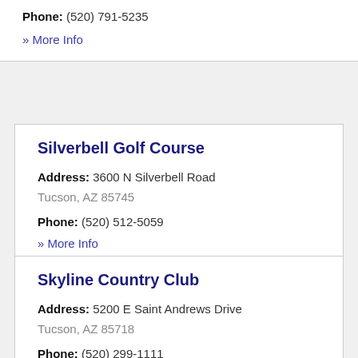Phone: (520) 791-5235
» More Info
Silverbell Golf Course
Address: 3600 N Silverbell Road
Tucson, AZ 85745
Phone: (520) 512-5059
» More Info
Skyline Country Club
Address: 5200 E Saint Andrews Drive
Tucson, AZ 85718
Phone: (520) 299-1111
» More Info